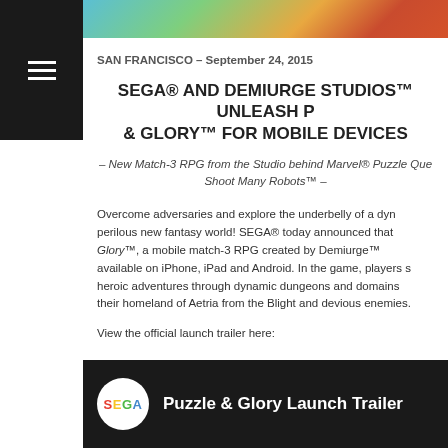[Figure (photo): Colorful game artwork banner showing fantasy world with teal, green, orange tones]
[Figure (other): Black sidebar with white hamburger menu icon]
SAN FRANCISCO – September 24, 2015
SEGA® AND DEMIURGE STUDIOS™ UNLEASH P & GLORY™ FOR MOBILE DEVICES
– New Match-3 RPG from the Studio behind Marvel® Puzzle Que Shoot Many Robots™ –
Overcome adversaries and explore the underbelly of a dy perilous new fantasy world! SEGA® today announced that Glory™, a mobile match-3 RPG created by Demiurge™ available on iPhone, iPad and Android. In the game, players s heroic adventures through dynamic dungeons and domains their homeland of Aetria from the Blight and devious enemies.
View the official launch trailer here:
[Figure (screenshot): Video thumbnail showing SEGA logo circle and text 'Puzzle & Glory Launch Trailer' on dark background]